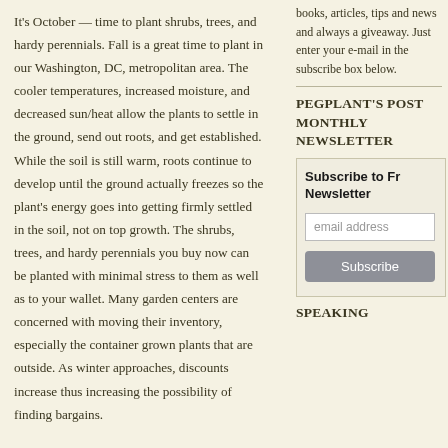It's October — time to plant shrubs, trees, and hardy perennials. Fall is a great time to plant in our Washington, DC, metropolitan area. The cooler temperatures, increased moisture, and decreased sun/heat allow the plants to settle in the ground, send out roots, and get established. While the soil is still warm, roots continue to develop until the ground actually freezes so the plant's energy goes into getting firmly settled in the soil, not on top growth. The shrubs, trees, and hardy perennials you buy now can be planted with minimal stress to them as well as to your wallet. Many garden centers are concerned with moving their inventory, especially the container grown plants that are outside. As winter approaches, discounts increase thus increasing the possibility of finding bargains.
books, articles, tips and news and always a giveaway. Just enter your e-mail in the subscribe box below.
PEGPLANT'S POST MONTHLY NEWSLETTER
Subscribe to Fr Newsletter
SPEAKING